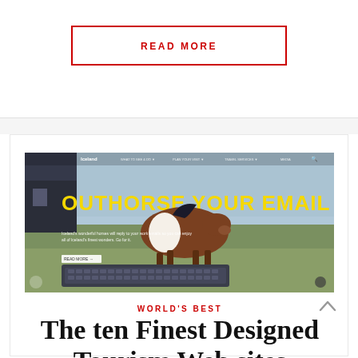READ MORE
[Figure (screenshot): Screenshot of a tourism website showing a horse standing on a keyboard with text 'OUTHORSE YOUR EMAIL' in bold yellow letters against an outdoor landscape background.]
WORLD'S BEST
The ten Finest Designed Tourism Web sites